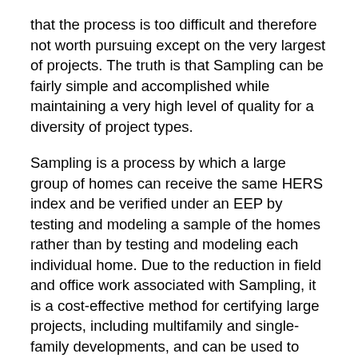that the process is too difficult and therefore not worth pursuing except on the very largest of projects. The truth is that Sampling can be fairly simple and accomplished while maintaining a very high level of quality for a diversity of project types.
Sampling is a process by which a large group of homes can receive the same HERS index and be verified under an EEP by testing and modeling a sample of the homes rather than by testing and modeling each individual home. Due to the reduction in field and office work associated with Sampling, it is a cost-effective method for certifying large projects, including multifamily and single-family developments, and can be used to certify homes under multiple EEPs.
The Sampling process is available for Raters working with builders who are producing at least 50 single-family or multifamily homes in a year within a